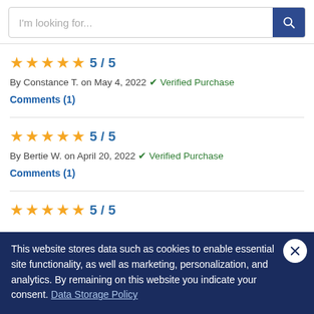I'm looking for...
5 / 5 By Constance T. on May 4, 2022 ✔ Verified Purchase Comments (1)
5 / 5 By Bertie W. on April 20, 2022 ✔ Verified Purchase Comments (1)
5 / 5
This website stores data such as cookies to enable essential site functionality, as well as marketing, personalization, and analytics. By remaining on this website you indicate your consent. Data Storage Policy